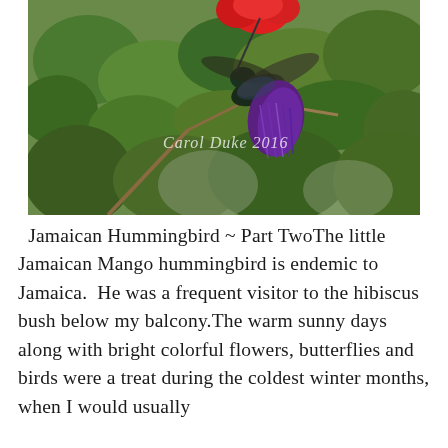[Figure (photo): A Jamaican Mango hummingbird photographed in flight near red hibiscus flowers and green leaves. The bird shows iridescent purple tail feathers. A white script watermark reads 'Carol Duke 2016'.]
Jamaican Hummingbird ~ Part TwoThe little Jamaican Mango hummingbird is endemic to Jamaica.  He was a frequent visitor to the hibiscus bush below my balcony.The warm sunny days along with bright colorful flowers, butterflies and birds were a treat during the coldest winter months, when I would usually